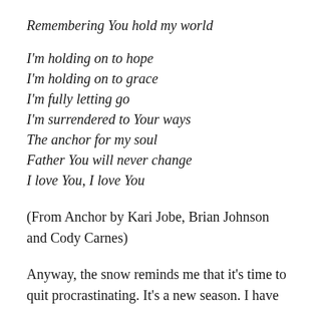Remembering You hold my world
I'm holding on to hope
I'm holding on to grace
I'm fully letting go
I'm surrendered to Your ways
The anchor for my soul
Father You will never change
I love You, I love You
(From Anchor by Kari Jobe, Brian Johnson and Cody Carnes)
Anyway, the snow reminds me that it's time to quit procrastinating. It's a new season. I have a new